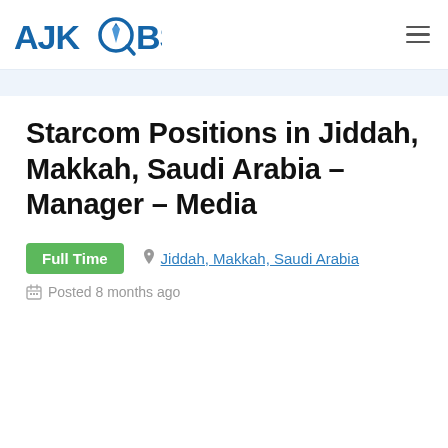AJKJOBS
Starcom Positions in Jiddah, Makkah, Saudi Arabia – Manager – Media
Full Time
Jiddah, Makkah, Saudi Arabia
Posted 8 months ago